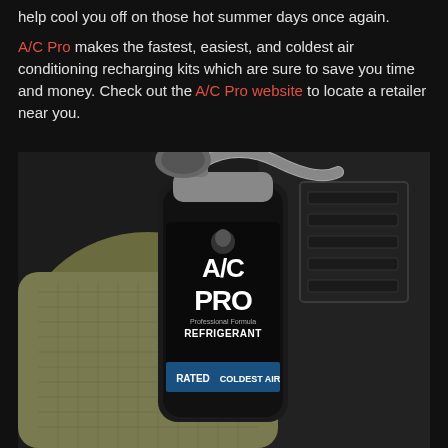help cool you off on those hot summer days once again. A/C Pro makes the fastest, easiest, and coldest air conditioning recharging kits which are sure to save you time and money. Check out the A/C Pro website to locate a retailer near you.
[Figure (photo): A gloved hand holding an A/C Pro Professional Formula Refrigerant can with a braided hose attached, positioned near a car dashboard air vent. The can shows 'A/C PRO Professional Formula REFRIGERANT RATED COLDEST AIR' branding on a dark background.]